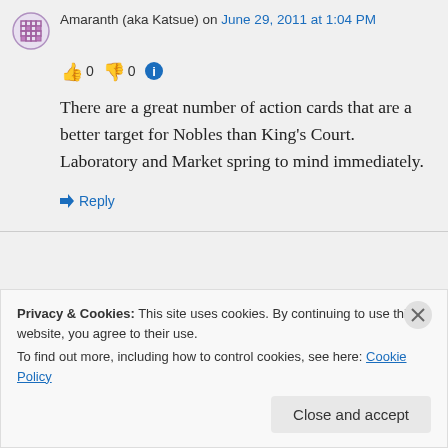Amaranth (aka Katsue) on June 29, 2011 at 1:04 PM
[Figure (other): Thumbs up emoji, count 0, thumbs down emoji, count 0, info icon]
There are a great number of action cards that are a better target for Nobles than King's Court. Laboratory and Market spring to mind immediately.
↳ Reply
Privacy & Cookies: This site uses cookies. By continuing to use this website, you agree to their use.
To find out more, including how to control cookies, see here: Cookie Policy
Close and accept